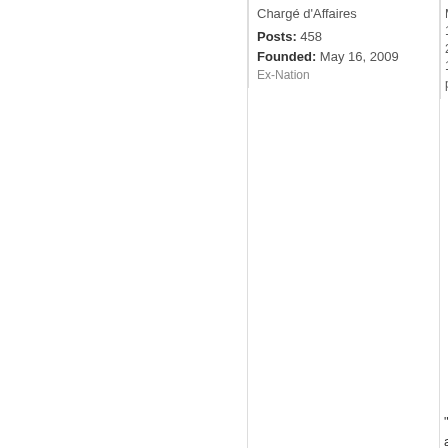Chargé d'Affaires
Posts: 458
Founded: May 16, 2009
Ex-Nation
Mar 17, 2019 1:04 pm
"Co are a thr to the fre of our nat any act aga the ca